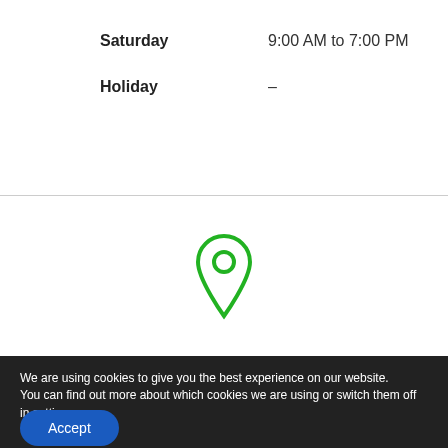Saturday    9:00 AM to 7:00 PM
Holiday    –
[Figure (illustration): Green map pin / location marker icon, outline style with a circle in the center]
We are using cookies to give you the best experience on our website.
You can find out more about which cookies we are using or switch them off in settings.
Accept